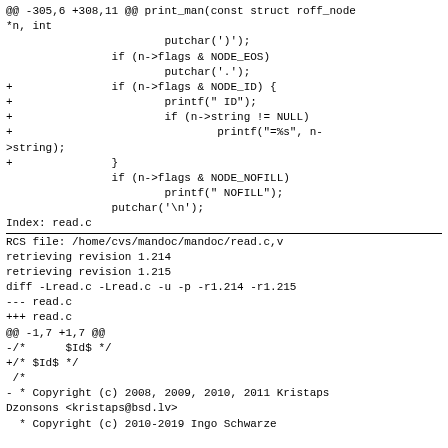@@ -305,6 +308,11 @@ print_man(const struct roff_node *n, int
                        putchar(')');
                if (n->flags & NODE_EOS)
                        putchar('.');
+               if (n->flags & NODE_ID) {
+                       printf(" ID");
+                       if (n->string != NULL)
+                               printf("=%s", n->string);
+               }
                if (n->flags & NODE_NOFILL)
                        printf(" NOFILL");
                putchar('\n');
Index: read.c
================================================================
RCS file: /home/cvs/mandoc/mandoc/read.c,v
retrieving revision 1.214
retrieving revision 1.215
diff -Lread.c -Lread.c -u -p -r1.214 -r1.215
--- read.c
+++ read.c
@@ -1,7 +1,7 @@
-/*      $Id$ */
+/* $Id$ */
 /*
 - * Copyright (c) 2008, 2009, 2010, 2011 Kristaps Dzonsons <kristaps@bsd.lv>
   * Copyright (c) 2010-2019 Ingo Schwarze